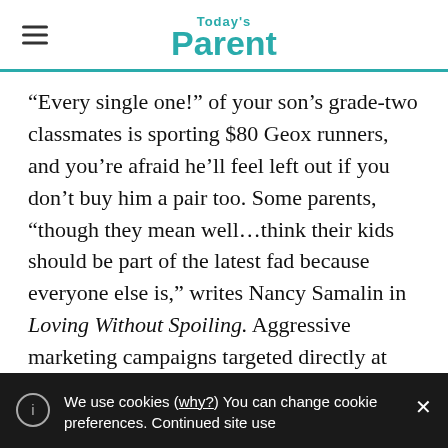Today's Parent
“Every single one!” of your son’s grade-two classmates is sporting $80 Geox runners, and you’re afraid he’ll feel left out if you don’t buy him a pair too. Some parents, “though they mean well…think their kids should be part of the latest fad because everyone else is,” writes Nancy Samalin in Loving Without Spoiling. Aggressive marketing campaigns targeted directly at kids add fuel to the fire.
We use cookies (why?) You can change cookie preferences. Continued site use